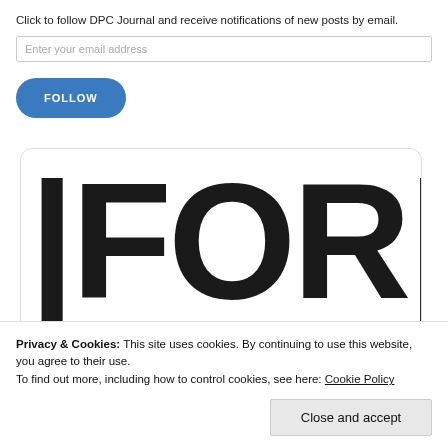Click to follow DPC Journal and receive notifications of new posts by email.
Enter your email address
FOLLOW
[Figure (screenshot): Large bold text showing letters 'FOR' cropped, displayed in a white rounded card widget]
Privacy & Cookies: This site uses cookies. By continuing to use this website, you agree to their use.
To find out more, including how to control cookies, see here: Cookie Policy
Close and accept